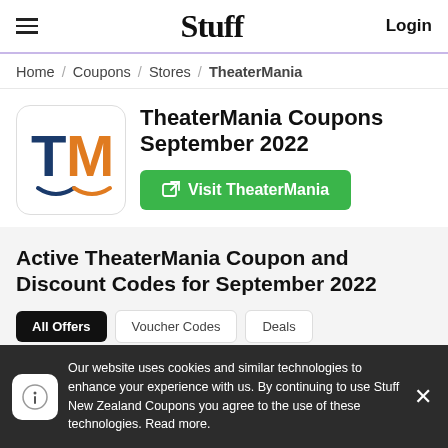≡  Stuff  Login
Home / Coupons / Stores / TheaterMania
TheaterMania Coupons September 2022
Visit TheaterMania
Active TheaterMania Coupon and Discount Codes for September 2022
Our website uses cookies and similar technologies to enhance your experience with us. By continuing to use Stuff New Zealand Coupons you agree to the use of these technologies. Read more.